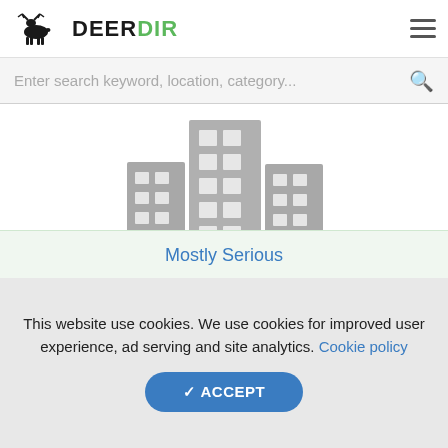DeerDir
Enter search keyword, location, category...
[Figure (illustration): Gray silhouette of city buildings (placeholder business directory image)]
Mostly Serious
This website use cookies. We use cookies for improved user experience, ad serving and site analytics. Cookie policy
✔ ACCEPT